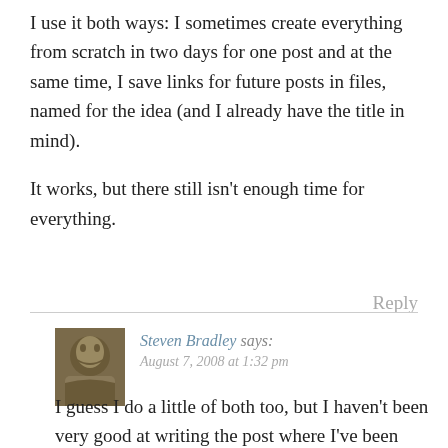I use it both ways: I sometimes create everything from scratch in two days for one post and at the same time, I save links for future posts in files, named for the idea (and I already have the title in mind).

It works, but there still isn't enough time for everything.
Reply
Steven Bradley says: August 7, 2008 at 1:32 pm
I guess I do a little of both too, but I haven't been very good at writing the post where I've been collecting notes. I'm trying to formalize that process more and make it